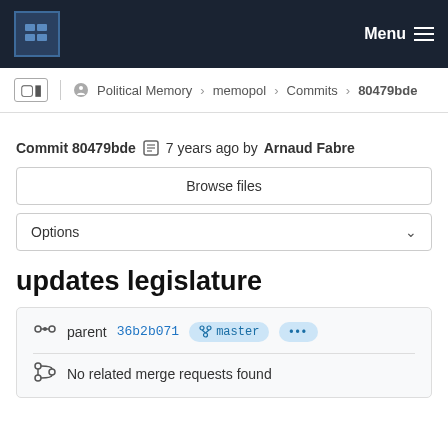Menu
Political Memory > memopol > Commits > 80479bde
Commit 80479bde  7 years ago by Arnaud Fabre
Browse files
Options
updates legislature
parent 36b2b071  master  ...
No related merge requests found